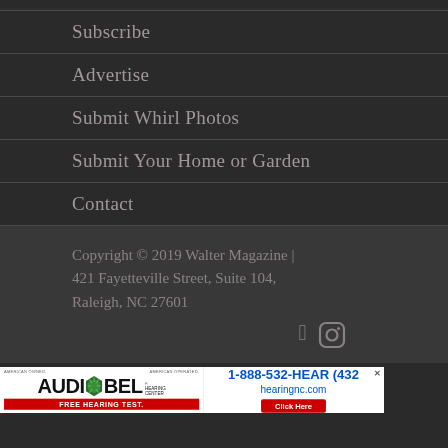Subscribe
Advertise
Submit Whirl Photos
Submit Your Home or Garden
Contact
Copyright © 2019 Walter Magazine | 421 Fayetteville Street, Suite 104, Raleigh, NC 27601
[Figure (screenshot): Audibel Hearing Center advertisement banner. Text: AMERICAN OWNED. AMERICAN OPERATED. 1-888-532-HEAR (432... hearingnc.com FREE HEARING TEST. Click Here]
Advertisement